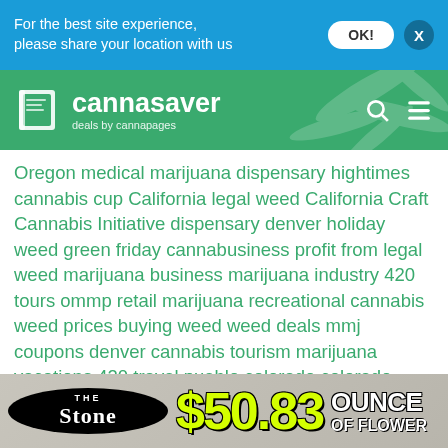For the best site experience, please share your location with us
[Figure (logo): Cannasaver - deals by cannapages logo on green background with cannabis leaf pattern]
Oregon medical marijuana dispensary hightimes cannabis cup California legal weed California Craft Cannabis Initiative dispensary denver holiday weed green friday cannabusiness profit from legal weed marijuana business marijuana industry 420 tours ommp retail marijuana recreational cannabis weed prices buying weed weed deals mmj coupons denver cannabis tourism marijuana vacations 420 travel pueblo colorado colorado legal marijuana nebraska and oklahoma case cannabis industry dispensaries 2016 presidential candidates marijuana legalization 2016 elections where to buy marijuana recreational dispensaries near me best dispensary in denver denver deals colorado cannabis tours marijuana
[Figure (advertisement): The Stone dispensary advertisement showing $50.83 ounce of flower deal]